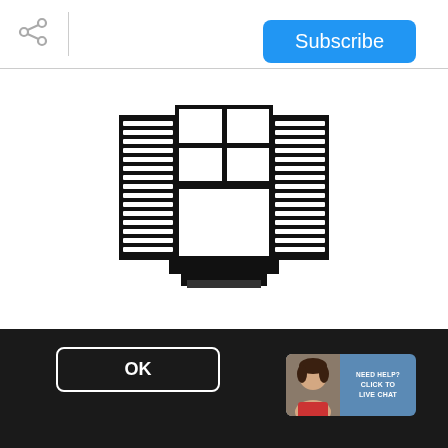[Figure (screenshot): Share icon (three connected dots) in top left corner of a web page header]
[Figure (other): Blue Subscribe button in top right corner]
[Figure (illustration): Black and white illustration of a window with shutters on both sides, featuring a grid of panes on top and a large lower pane, with a window box/sill at the bottom]
We use cookies to enhance your browsing experience and deliver our services. By continuing to visit this site, you agree to our use of cookies. More info
[Figure (other): OK button with white border on dark background]
[Figure (other): Live chat widget with woman avatar and text NEED HELP? CLICK TO LIVE CHAT]